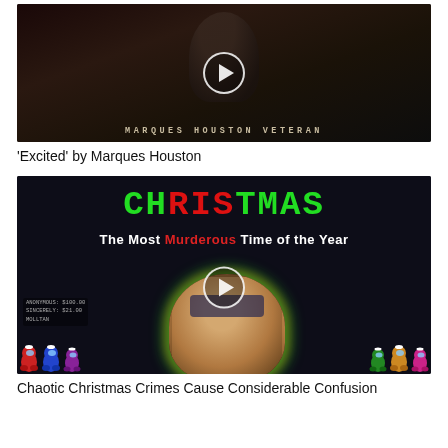[Figure (screenshot): Video thumbnail for 'Excited' by Marques Houston - shows a dark figure in a coat with 'MARQUES HOUSTON VETERAN' text at bottom, with a play button overlay]
'Excited' by Marques Houston
[Figure (screenshot): Video thumbnail showing 'CHRISTMAS The Most Murderous Time of the Year' with colorful pixel text, Among Us characters with Santa hats, and a streamer with glasses and curly hair, play button overlay]
Chaotic Christmas Crimes Cause Considerable Confusion